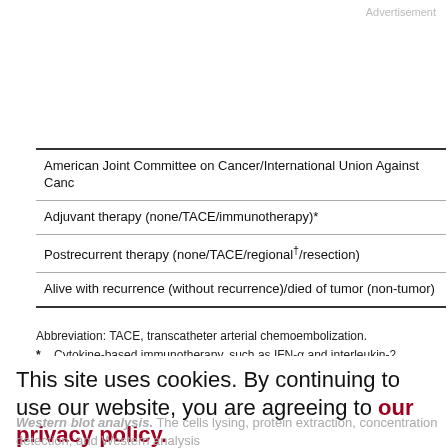Advertisement
| American Joint Committee on Cancer/International Union Against Canc... |
| Adjuvant therapy (none/TACE/immunotherapy)* |
| Postrecurrent therapy (none/TACE/regional†/resection) |
| Alive with recurrence (without recurrence)/died of tumor (non-tumor) |
Abbreviation: TACE, transcatheter arterial chemoembolization.
* Cytokine-based immunotherapy, such as IFN-α and interleukin-2.
† Radiofrequency ablation and percutaneous ethanol injection.
This site uses cookies. By continuing to use our website, you are agreeing to our privacy policy. Accept
Western blot analysis. The cells lysing, protein extraction, concentration detection, and Western analysis...